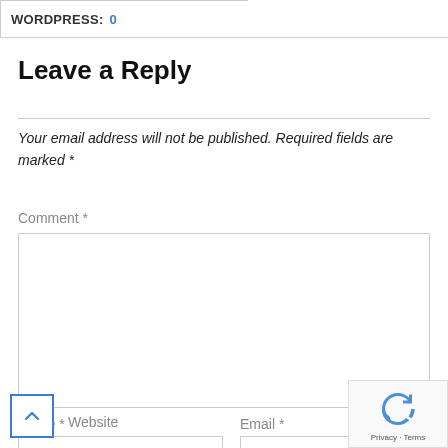WORDPRESS: 0
Leave a Reply
Your email address will not be published. Required fields are marked *
Comment *
Name *
Email *
Website